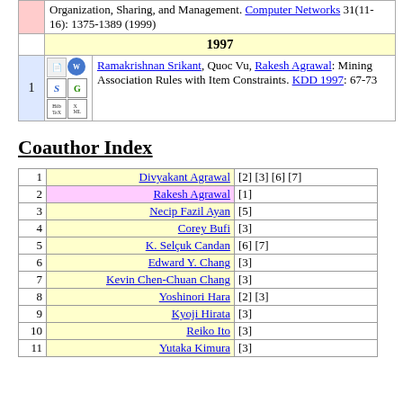| # | icons | reference |
| --- | --- | --- |
|  | 1997 |  |
| 1 | [icons] | Ramakrishnan Srikant, Quoc Vu, Rakesh Agrawal: Mining Association Rules with Item Constraints. KDD 1997: 67-73 |
Coauthor Index
| # | Name | References |
| --- | --- | --- |
| 1 | Divyakant Agrawal | [2] [3] [6] [7] |
| 2 | Rakesh Agrawal | [1] |
| 3 | Necip Fazil Ayan | [5] |
| 4 | Corey Bufi | [3] |
| 5 | K. Selçuk Candan | [6] [7] |
| 6 | Edward Y. Chang | [3] |
| 7 | Kevin Chen-Chuan Chang | [3] |
| 8 | Yoshinori Hara | [2] [3] |
| 9 | Kyoji Hirata | [3] |
| 10 | Reiko Ito | [3] |
| 11 | Yutaka Kimura | [3] |